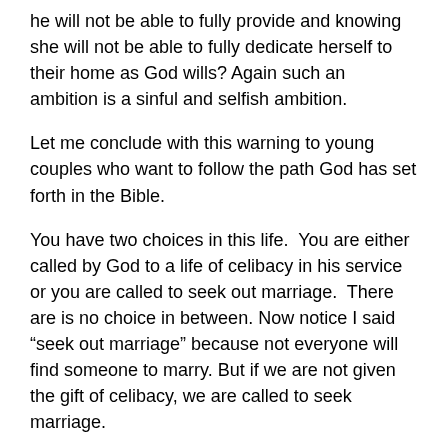he will not be able to fully provide and knowing she will not be able to fully dedicate herself to their home as God wills? Again such an ambition is a sinful and selfish ambition.
Let me conclude with this warning to young couples who want to follow the path God has set forth in the Bible.
You have two choices in this life.  You are either called by God to a life of celibacy in his service or you are called to seek out marriage.  There are is no choice in between.  Now notice I said “seek out marriage” because not everyone will find someone to marry. But if we are not given the gift of celibacy, we are called to seek marriage.
To young men:
If you have not been given the call of God to celibacy in his service and you have a desire to seek out marriage